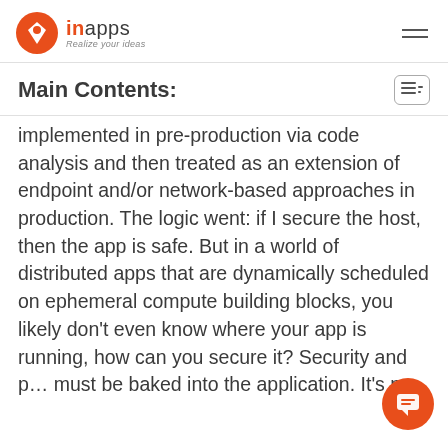inapps — Realize your ideas
Main Contents:
implemented in pre-production via code analysis and then treated as an extension of endpoint and/or network-based approaches in production. The logic went: if I secure the host, then the app is safe. But in a world of distributed apps that are dynamically scheduled on ephemeral compute building blocks, you likely don't even know where your app is running, how can you secure it? Security and p… must be baked into the application. It's no